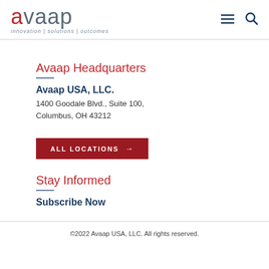avaap — innovation | solutions | outcomes
Avaap Headquarters
Avaap USA, LLC.
1400 Goodale Blvd., Suite 100, Columbus, OH 43212
ALL LOCATIONS →
Stay Informed
Subscribe Now
©2022 Avaap USA, LLC. All rights reserved.